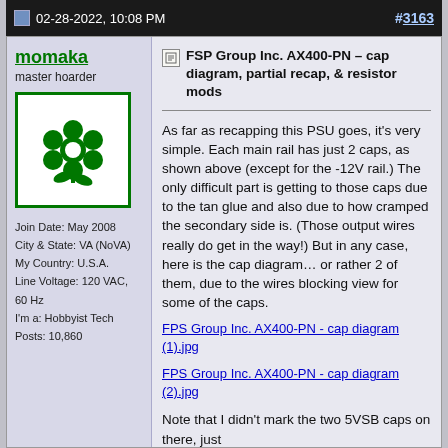02-28-2022, 10:08 PM  #3163
momaka
master hoarder
[Figure (illustration): Green flower/plant icon inside a green-bordered white square box — forum user avatar]
Join Date: May 2008
City & State: VA (NoVA)
My Country: U.S.A.
Line Voltage: 120 VAC, 60 Hz
I'm a: Hobbyist Tech
Posts: 10,860
FSP Group Inc. AX400-PN – cap diagram, partial recap, & resistor mods
As far as recapping this PSU goes, it's very simple. Each main rail has just 2 caps, as shown above (except for the -12V rail.) The only difficult part is getting to those caps due to the tan glue and also due to how cramped the secondary side is. (Those output wires really do get in the way!) But in any case, here is the cap diagram… or rather 2 of them, due to the wires blocking view for some of the caps.
FPS Group Inc. AX400-PN - cap diagram (1).jpg
FPS Group Inc. AX400-PN - cap diagram (2).jpg
Note that I didn't mark the two 5VSB caps on there, just